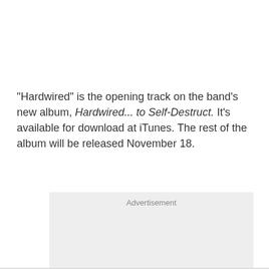"Hardwired" is the opening track on the band's new album, Hardwired... to Self-Destruct. It's available for download at iTunes. The rest of the album will be released November 18.
[Figure (other): Advertisement placeholder box with light gray background and 'Advertisement' label text centered at the top.]